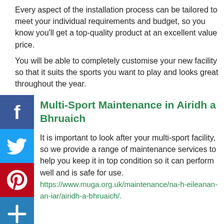Every aspect of the installation process can be tailored to meet your individual requirements and budget, so you know you'll get a top-quality product at an excellent value price.
You will be able to completely customise your new facility so that it suits the sports you want to play and looks great throughout the year.
[Figure (other): Social media share buttons: Facebook (blue), Twitter (blue), Pinterest (red), and a share/add button (blue), arranged vertically on the left side of the page.]
Multi-Sport Maintenance in Airidh a Bhruaich
It is important to look after your multi-sport facility, so we provide a range of maintenance services to help you keep it in top condition so it can perform well and is safe for use. Find out more at https://www.muga.org.uk/maintenance/na-h-eileanan-an-iar/airidh-a-bhruaich/.
The multi-sport maintenance we provide for sports surfaces can include pressure washing, drag brushing, moss and algae treatments, and sand and rubber infill rejuvenation.
For hard MUGA court surfaces like macadam and polymeric EPDM rubber, other services like repairs, repainting and new line marking